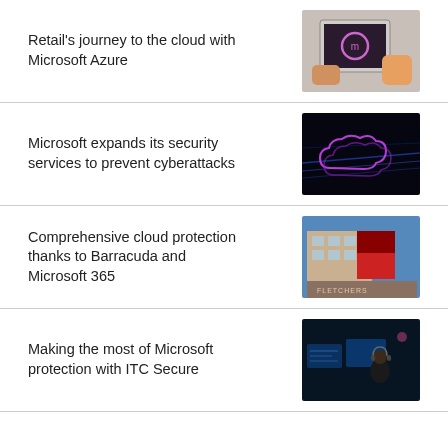Retail’s journey to the cloud with Microsoft Azure
[Figure (photo): Hands using a tablet device with a purple circle icon on screen]
Microsoft expands its security services to prevent cyberattacks
[Figure (photo): Dark background with glowing purple digital cloud illustration representing cybersecurity]
Comprehensive cloud protection thanks to Barracuda and Microsoft 365
[Figure (photo): Exterior of a building with red and blue facade, Fletchers signage]
Making the most of Microsoft protection with ITC Secure
[Figure (photo): Person with headset working at multiple computer monitors in a dark environment]